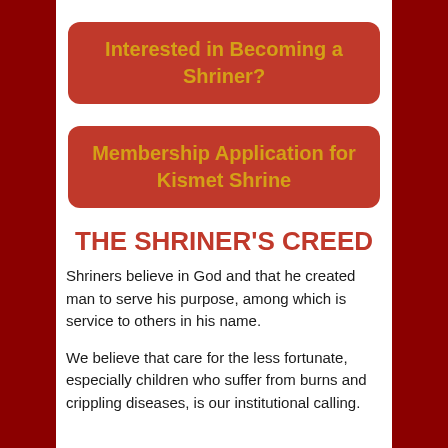Interested in Becoming a Shriner?
Membership Application for Kismet Shrine
THE SHRINER'S CREED
Shriners believe in God and that he created man to serve his purpose, among which is service to others in his name.
We believe that care for the less fortunate, especially children who suffer from burns and crippling diseases, is our institutional calling.